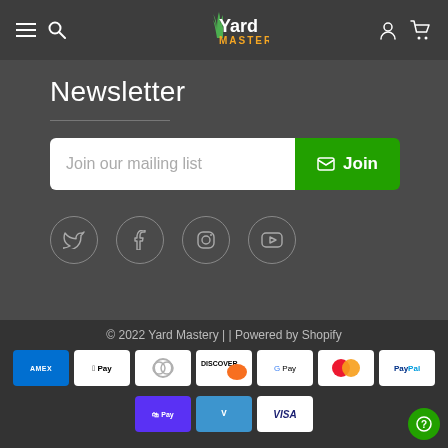[Figure (screenshot): Yard Mastery website header with hamburger menu, search icon, centered Yard Mastery logo, user account icon, and cart icon on dark background]
Newsletter
[Figure (other): Email signup form with 'Join our mailing list' placeholder text and green Join button with envelope icon]
[Figure (other): Social media icons row: Twitter, Facebook, Instagram, YouTube — each in a circle outline]
© 2022 Yard Mastery | | Powered by Shopify
[Figure (other): Payment method icons: American Express, Apple Pay, Diners Club, Discover, Google Pay, Mastercard, PayPal, Shop Pay, Venmo, Visa]